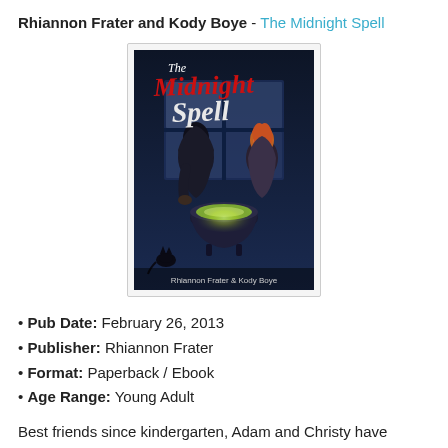Rhiannon Frater and Kody Boye - The Midnight Spell
[Figure (illustration): Book cover of 'The Midnight Spell' by Rhiannon Frater & Kody Boye. Dark atmospheric cover showing two figures over a glowing cauldron, with the title 'The Midnight Spell' in stylized red and white text at the top.]
Pub Date: February 26, 2013
Publisher: Rhiannon Frater
Format: Paperback / Ebook
Age Range: Young Adult
Best friends since kindergarten, Adam and Christy have always been the perpetual outsiders in their small town in Texas. The other kids call